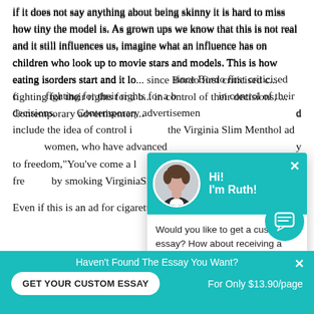if it does not say anything about being skinny it is hard to miss how tiny the model is. As grown ups we know that this is not real and it still influences us, imagine what an influence has on children who look up to movie stars and models. This is how eating isorders start and it lo... since Bordo first criticised c... fighting for their rights for a b... in control of their decisions, ... Contemporary advertisemen... d include the idea of control i... the Virginia Slim Menthol ad... women, who have advanced... y to freedom,"You've come a l... women to celebrate their fre... by smoking VirginiaSlim Me...
[Figure (screenshot): Chat popup with avatar of a woman named Ruth, teal header, asking 'Would you like to get a custom essay? How about receiving a customized one?' with a 'Check it out' link]
Even if this is an ad for cigarettes there is still a connecti...
Haven't Found The Essay You Want?
GET YOUR CUSTOM ESSAY
For Only $13.90/page